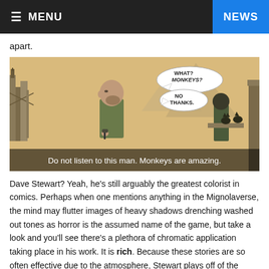≡ MENU | NEWS
apart.
[Figure (illustration): Comic book panel showing a man with a beard holding a pen near his chin, with speech bubbles saying 'WHAT? MONKEYS? NO THANKS.' A figure in the background is near some animals. Caption overlay reads: Do not listen to this man. Monkeys are amazing.]
Do not listen to this man. Monkeys are amazing.
Dave Stewart? Yeah, he's still arguably the greatest colorist in comics. Perhaps when one mentions anything in the Mignolaverse, the mind may flutter images of heavy shadows drenching washed out tones as horror is the assumed name of the game, but take a look and you'll see there's a plethora of chromatic application taking place in his work. It is rich. Because these stories are so often effective due to the atmosphere, Stewart plays off of the expected and knows exactly where to have contrast be the most effective. The cold, sterile halls of the B.P.R.D. headquarters is made all the more apparent with the shredding, blistering